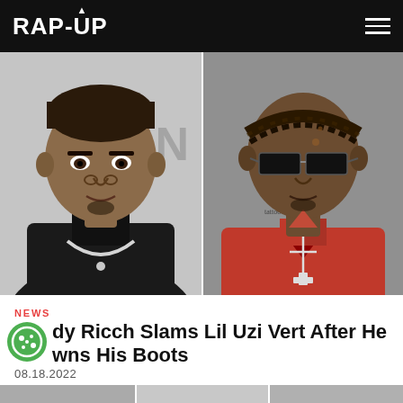RAP-UP
[Figure (photo): Side-by-side photos of two rappers. Left: a young Black man in a black jacket with diamond chain necklace, in front of a white/grey background. Right: a Black man wearing dark rectangular sunglasses, a red jacket, and a cross necklace, with braided hair.]
NEWS
Roddy Ricch Slams Lil Uzi Vert After He Drowns His Boots
08.18.2022
[Figure (photo): Partial bottom strip showing cropped images, grey tones.]